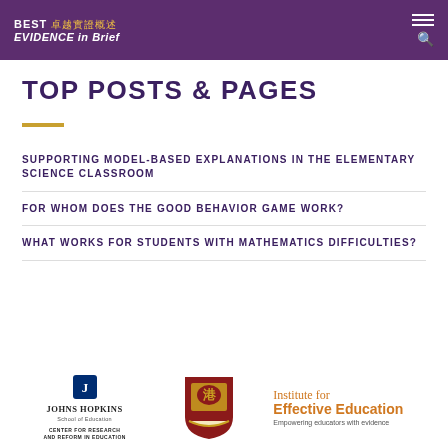BEST 卓越實證概述 EVIDENCE in Brief
TOP POSTS & PAGES
SUPPORTING MODEL-BASED EXPLANATIONS IN THE ELEMENTARY SCIENCE CLASSROOM
FOR WHOM DOES THE GOOD BEHAVIOR GAME WORK?
WHAT WORKS FOR STUDENTS WITH MATHEMATICS DIFFICULTIES?
[Figure (logo): Johns Hopkins School of Education – Center for Research and Reform in Education logo]
[Figure (logo): HKU (University of Hong Kong) shield/crest logo]
[Figure (logo): Institute for Effective Education – Empowering educators with evidence logo]